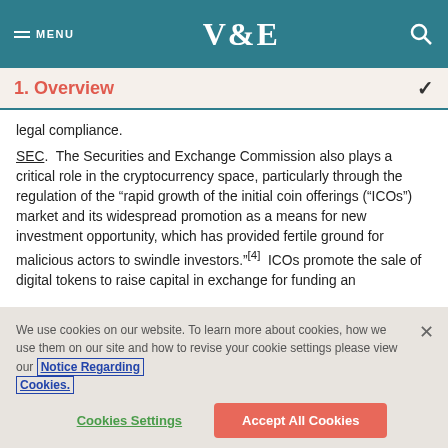MENU  V&E  [search]
1. Overview
legal compliance.

SEC.  The Securities and Exchange Commission also plays a critical role in the cryptocurrency space, particularly through the regulation of the “rapid growth of the initial coin offerings (“ICOs”) market and its widespread promotion as a means for new investment opportunity, which has provided fertile ground for malicious actors to swindle investors.”[4]  ICOs promote the sale of digital tokens to raise capital in exchange for funding an
We use cookies on our website. To learn more about cookies, how we use them on our site and how to revise your cookie settings please view our Notice Regarding Cookies.
Cookies Settings
Accept All Cookies